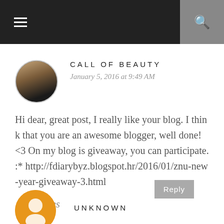≡  🔍
CALL OF BEAUTY
January 5, 2016 at 9:49 AM
Hi dear, great post, I really like your blog. I think that you are an awesome blogger, well done! <3 On my blog is giveaway, you can participate. :* http://fdiarybyz.blogspot.hr/2016/01/znu-new-year-giveaway-3.html
▾ Replies
UNKNOWN